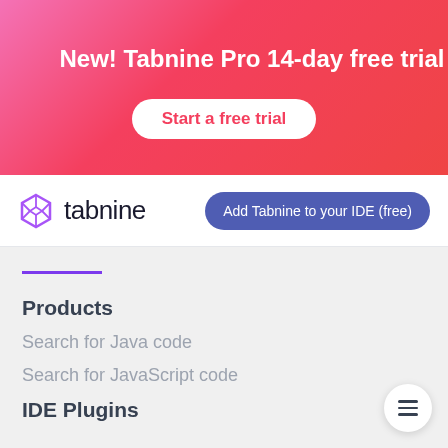New! Tabnine Pro 14-day free trial
Start a free trial
[Figure (logo): Tabnine logo with hexagonal icon and text 'tabnine']
Add Tabnine to your IDE (free)
Products
Search for Java code
Search for JavaScript code
IDE Plugins